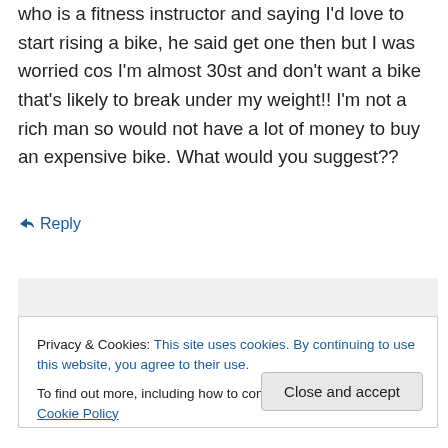who is a fitness instructor and saying I'd love to start rising a bike, he said get one then but I was worried cos I'm almost 30st and don't want a bike that's likely to break under my weight!! I'm not a rich man so would not have a lot of money to buy an expensive bike. What would you suggest??
↳ Reply
Privacy & Cookies: This site uses cookies. By continuing to use this website, you agree to their use.
To find out more, including how to control cookies, see here: Cookie Policy
Close and accept